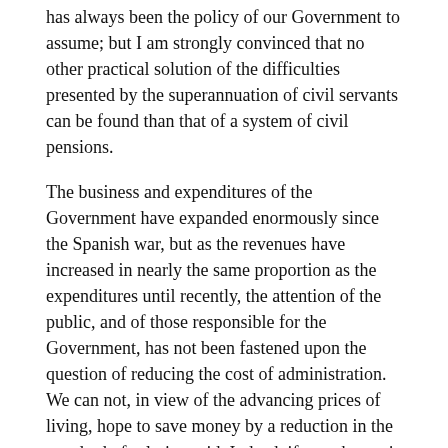has always been the policy of our Government to assume; but I am strongly convinced that no other practical solution of the difficulties presented by the superannuation of civil servants can be found than that of a system of civil pensions.
The business and expenditures of the Government have expanded enormously since the Spanish war, but as the revenues have increased in nearly the same proportion as the expenditures until recently, the attention of the public, and of those responsible for the Government, has not been fastened upon the question of reducing the cost of administration. We can not, in view of the advancing prices of living, hope to save money by a reduction in the standard of salaries paid. Indeed, if any change is made in that regard, an increase rather than a decrease will be necessary; and the only means of economy will be in reducing the number of employees and in obtaining a greater average of efficiency from those retained in the service.
Close investigation and study needed to make definite recommendations in this regard will consume at least two